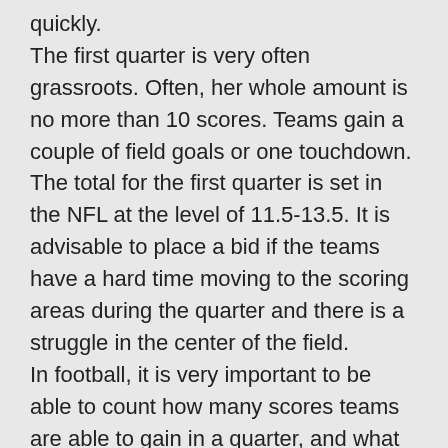quickly. The first quarter is very often grassroots. Often, her whole amount is no more than 10 scores. Teams gain a couple of field goals or one touchdown. The total for the first quarter is set in the NFL at the level of 11.5-13.5. It is advisable to place a bid if the teams have a hard time moving to the scoring areas during the quarter and there is a struggle in the center of the field. In football, it is very important to be able to count how many scores teams are able to gain in a quarter, and what actions they will take in a specific situation.